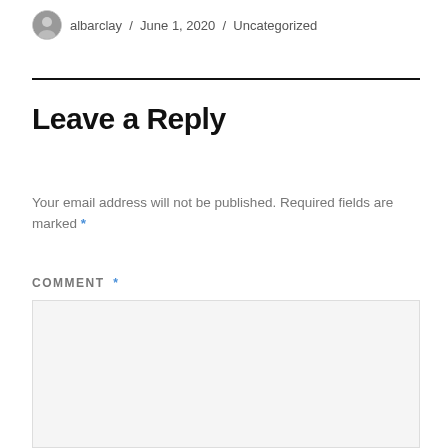albarclay / June 1, 2020 / Uncategorized
Leave a Reply
Your email address will not be published. Required fields are marked *
COMMENT *